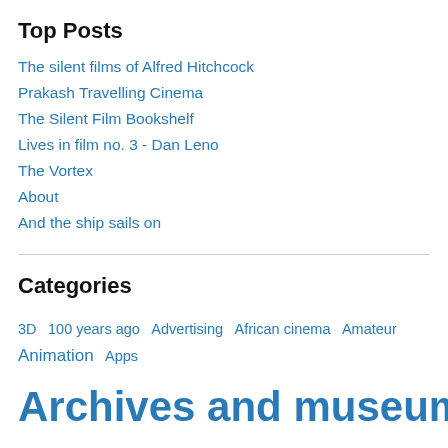Top Posts
The silent films of Alfred Hitchcock
Prakash Travelling Cinema
The Silent Film Bookshelf
Lives in film no. 3 - Dan Leno
The Vortex
About
And the ship sails on
Categories
3D  100 years ago  Advertising  African cinema  Amateur  Animation  Apps  Archives and museums  Asian cinema  Audience  Avant garde  Awards and contests  Bioscope  Black cinema  Blogs  Business  Camera operators  Catalogues and databases  Censorship  Children